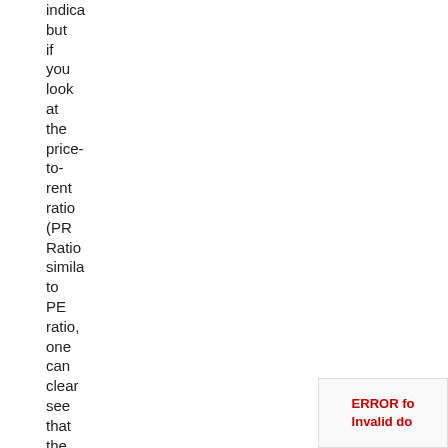indica but if you look at the price-to-rent ratio (PR Ratio simila to PE ratio, one can clear see that the prices are in the
ERROR fo Invalid do